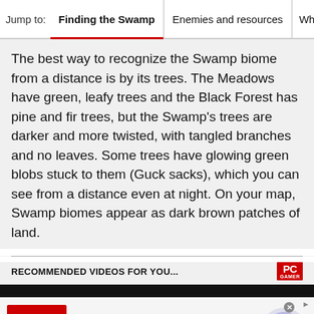Jump to: Finding the Swamp | Enemies and resources | Wha
The best way to recognize the Swamp biome from a distance is by its trees. The Meadows have green, leafy trees and the Black Forest has pine and fir trees, but the Swamp's trees are darker and more twisted, with tangled branches and no leaves. Some trees have glowing green blobs stuck to them (Guck sacks), which you can see from a distance even at night. On your map, Swamp biomes appear as dark brown patches of land.
RECOMMENDED VIDEOS FOR YOU...
[Figure (screenshot): Advertisement for Official NFL Gear. Red image on left showing '50% OFF' text, with NFL Shop ad text: 'Official NFL Gear - Get Your Favorite Team's Gear Here - www.nflshop.com', and a circular play button on the right.]